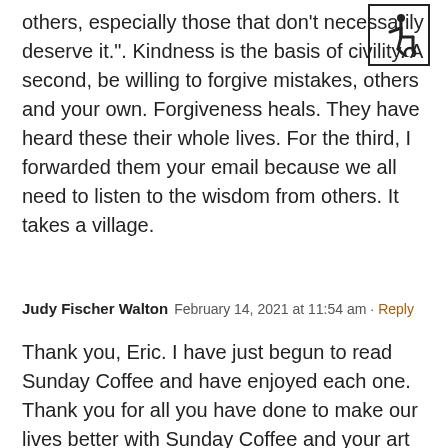others, especially those that don't necessarily deserve it.". Kindness is the basis of civility. A second, be willing to forgive mistakes, others and your own. Forgiveness heals. They have heard these their whole lives. For the third, I forwarded them your email because we all need to listen to the wisdom from others. It takes a village.
[Figure (other): Accessibility icon (wheelchair symbol) in a bordered square]
Judy Fischer Walton  February 14, 2021 at 11:54 am · Reply
Thank you, Eric. I have just begun to read Sunday Coffee and have enjoyed each one. Thank you for all you have done to make our lives better with Sunday Coffee and your art videos during these challenging